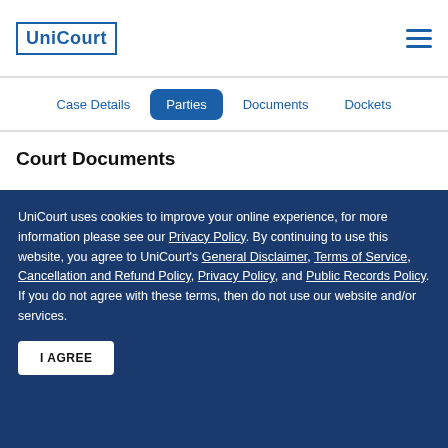UniCourt
Court Documents
#14
(#14) ORDER by Judge Cormac J. Carney: Granting #9 Defendants' MOTION to Transfer Action to the…
UniCourt uses cookies to improve your online experience, for more information please see our Privacy Policy. By continuing to use this website, you agree to UniCourt's General Disclaimer, Terms of Service, Cancellation and Refund Policy, Privacy Policy, and Public Records Policy. If you do not agree with these terms, then do not use our website and/or services.
I AGREE